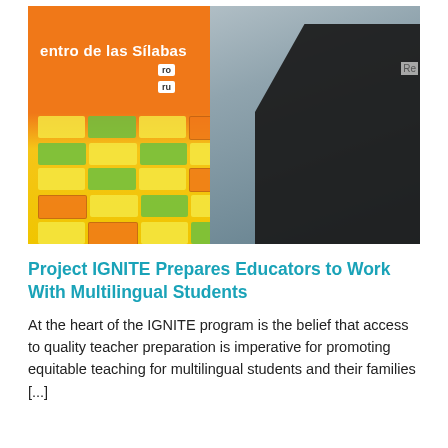[Figure (photo): A teacher stands next to a large orange Spanish syllable chart ('Centro de las Silabas') hanging on a rack in a colorful classroom. The chart has rows of yellow and green pockets with syllable cards. The teacher, wearing black, reaches up to the chart.]
Project IGNITE Prepares Educators to Work With Multilingual Students
At the heart of the IGNITE program is the belief that access to quality teacher preparation is imperative for promoting equitable teaching for multilingual students and their families [...]